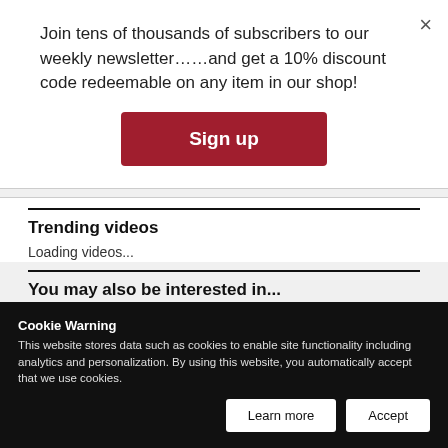Join tens of thousands of subscribers to our weekly newsletter……and get a 10% discount code redeemable on any item in our shop!
[Figure (other): Red 'Sign up' button for newsletter subscription]
Trending videos
Loading videos...
You may also be interested in...
SAUDI ARABIA - EDUCATION
Cookie Warning
This website stores data such as cookies to enable site functionality including analytics and personalization. By using this website, you automatically accept that we use cookies.